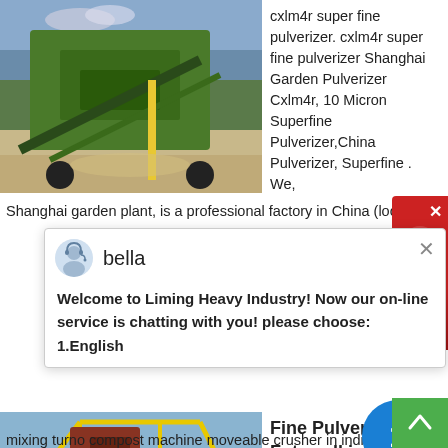[Figure (photo): Green industrial pulverizer/crusher machine on a sandy outdoor site]
cxlm4r super fine pulverizer. cxlm4r super fine pulverizer Shanghai Garden Pulverizer Cxlm4r, 10 Micron Superfine Pulverizer,China Pulverizer, Superfine . We, Shanghai garden plant, is a professional factory in China (loc
[Figure (screenshot): Chat popup from Liming Heavy Industry with agent named bella saying: Welcome to Liming Heavy Industry! Now our on-line service is chatting with you! please choose: 1.English]
Welcome to Liming Heavy Industry! Now our on-line service is chatting with you! please choose: 1.English
[Figure (photo): Yellow industrial crusher machine on a rocky outdoor site, photographed 2010/09/23 15:14]
Fine Pulverizer Fotowalkig Pl
cxlm4r super fine pulverizer Dealer Vsi Crusher Di Kerala new type compost
mixing turno compost machine moveable crusher in india hinno